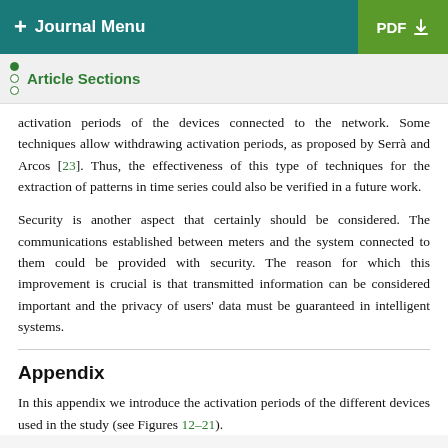+ Journal Menu | PDF
Article Sections
activation periods of the devices connected to the network. Some techniques allow withdrawing activation periods, as proposed by Serrà and Arcos [23]. Thus, the effectiveness of this type of techniques for the extraction of patterns in time series could also be verified in a future work.
Security is another aspect that certainly should be considered. The communications established between meters and the system connected to them could be provided with security. The reason for which this improvement is crucial is that transmitted information can be considered important and the privacy of users' data must be guaranteed in intelligent systems.
Appendix
In this appendix we introduce the activation periods of the different devices used in the study (see Figures 12–21).